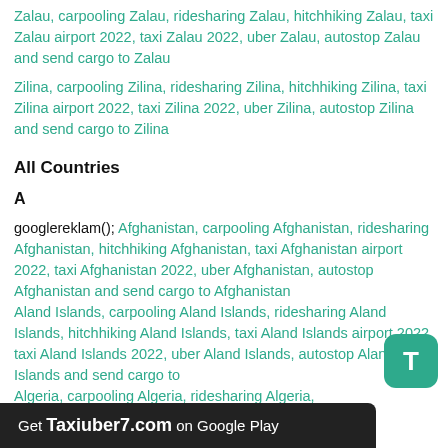Zalau, carpooling Zalau, ridesharing Zalau, hitchhiking Zalau, taxi Zalau airport 2022, taxi Zalau 2022, uber Zalau, autostop Zalau and send cargo to Zalau
Zilina, carpooling Zilina, ridesharing Zilina, hitchhiking Zilina, taxi Zilina airport 2022, taxi Zilina 2022, uber Zilina, autostop Zilina and send cargo to Zilina
All Countries
A
googlereklam(); Afghanistan, carpooling Afghanistan, ridesharing Afghanistan, hitchhiking Afghanistan, taxi Afghanistan airport 2022, taxi Afghanistan 2022, uber Afghanistan, autostop Afghanistan and send cargo to Afghanistan
Aland Islands, carpooling Aland Islands, ridesharing Aland Islands, hitchhiking Aland Islands, taxi Aland Islands airport 2022, taxi Aland Islands 2022, uber Aland Islands, autostop Aland Islands and send cargo to
Algeria, carpooling Algeria, ridesharing Algeria,
Get Taxiuber7.com on Google Play